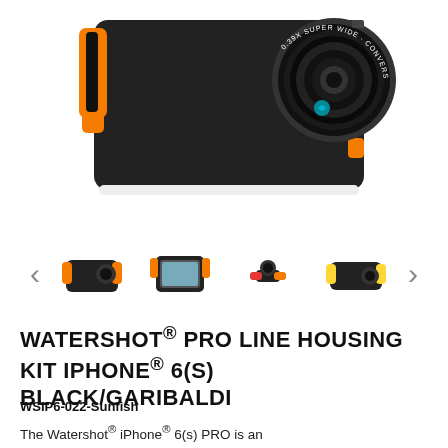[Figure (photo): Main product image of Watershot Pro Line Housing Kit for iPhone 6(s) in Black/Garibaldi (orange accents) with a wide-angle lens attachment, shown from a side angle on white background.]
[Figure (photo): Thumbnail navigation row with left arrow, four product thumbnail images (black/orange housing side view, housing front view with phone, orange mount/accessory, yellow/black housing side view), and right arrow.]
WATERSHOT® PRO LINE HOUSING KIT IPHONE® 6(S) BLACK/GARIBALDI
WSIP6-022-Sunfish
The Watershot® iPhone® 6(s) PRO is an